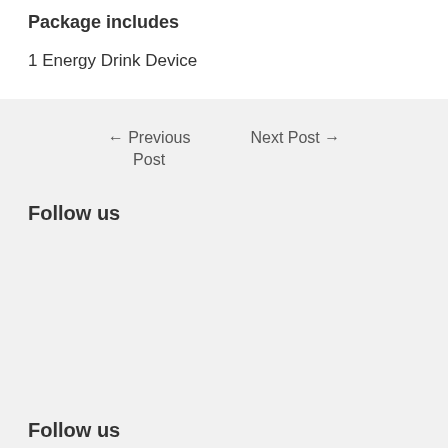Package includes
1 Energy Drink Device
← Previous Post
Next Post →
Follow us
Follow us